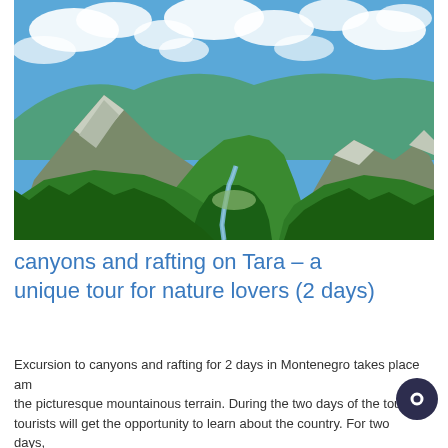[Figure (photo): Aerial view of a lush green mountain canyon with a winding river at the bottom, steep rocky peaks, dense forest-covered slopes, and a bright blue sky with white clouds — Tara River Canyon, Montenegro.]
canyons and rafting on Tara – a unique tour for nature lovers (2 days)
Excursion to canyons and rafting for 2 days in Montenegro takes place am the picturesque mountainous terrain. During the two days of the tour, tourists will get the opportunity to learn about the country. For two days,